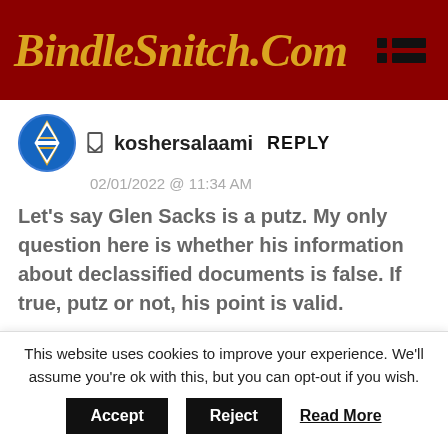BindleSnitch.Com
koshersalaami REPLY
02/01/2022 @ 11:34 AM
Let's say Glen Sacks is a putz. My only question here is whether his information about declassified documents is false. If true, putz or not, his point is valid.
ArtWStone REPLY
This website uses cookies to improve your experience. We'll assume you're ok with this, but you can opt-out if you wish. Accept Reject Read More